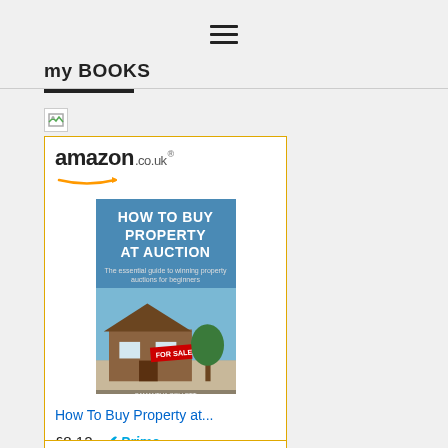≡ (hamburger menu)
my BOOKS
[Figure (screenshot): Amazon.co.uk advertisement showing book 'How To Buy Property at...' priced at £8.12 with Prime badge and Shop now button]
[Figure (screenshot): Second Amazon.co.uk advertisement showing a book with 'PROPERTY INVESTMENT' cover]